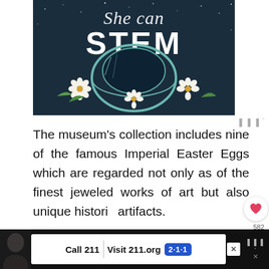[Figure (illustration): Illustrated poster showing an astronaut helmet with flowers and the text 'She can STEM' on a dark teal/navy background]
The museum's collection includes nine of the famous Imperial Easter Eggs which are regarded not only as of the finest jeweled works of art but also unique historical artifacts.
[Figure (screenshot): UI overlay showing a heart/like button with count 582 and a share button]
[Figure (infographic): WHAT'S NEXT arrow with thumbnail and text '25 INCREDIBL...']
[Figure (screenshot): Advertisement banner: Call 211 | Visit 211.org with 2-1-1 badge logo]